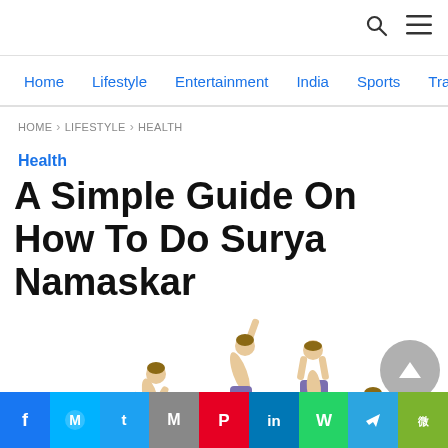Navigation header with search and menu icons
Home  Lifestyle  Entertainment  India  Sports  Travel
HOME > LIFESTYLE > HEALTH
Health
A Simple Guide On How To Do Surya Namaskar
[Figure (photo): Multiple yoga poses showing Surya Namaskar steps — figures shown in standing bow, back-bend, forward-fold, standing-forward and kneeling postures against white background]
Social share bar: Facebook, Messenger, Twitter, Gmail, Pinterest, LinkedIn, WhatsApp, Telegram, WeChat